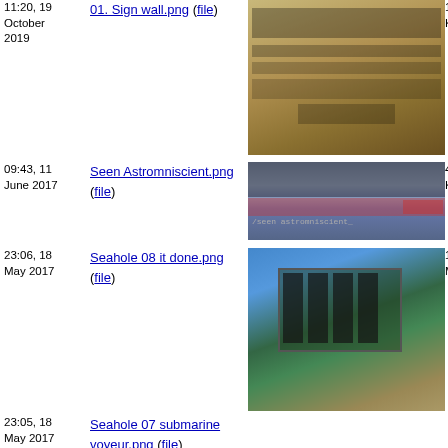11:20, 19 October 2019
01. Sign wall.png (file)
[Figure (screenshot): Minecraft screenshot showing a sign wall with text, brown/tan colored blocks]
09:43, 11 June 2017
Seen Astromniscient.png (file)
[Figure (screenshot): Minecraft screenshot showing /seen astromniscient command output]
23:06, 18 May 2017
Seahole 08 it done.png (file)
[Figure (screenshot): Minecraft screenshot showing a large structure from above with blue water and green/brown terrain]
23:05, 18 May 2017
Seahole 07 submarine voyeur.png (file)
[Figure (screenshot): Dark Minecraft screenshot showing submarine/underwater scene]
23:03, 18 May 2017
Seahole 06 many visual glitch.png (file)
[Figure (screenshot): Minecraft screenshot showing visual glitch with wood/green blocks]